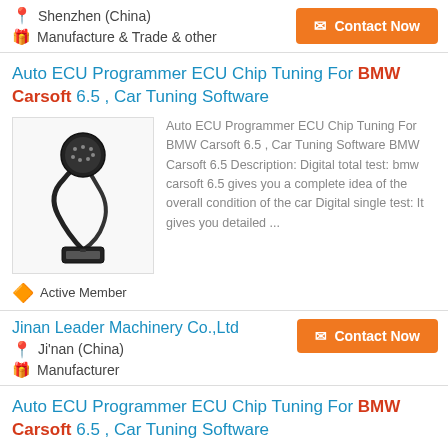Shenzhen (China)
Manufacture & Trade & other
Contact Now
Auto ECU Programmer ECU Chip Tuning For BMW Carsoft 6.5 , Car Tuning Software
[Figure (photo): OBD diagnostic cable connector with circular multi-pin connector on one end and flat connector on other end]
Auto ECU Programmer ECU Chip Tuning For BMW Carsoft 6.5 , Car Tuning Software BMW Carsoft 6.5 Description: Digital total test: bmw carsoft 6.5 gives you a complete idea of the overall condition of the car Digital single test: It gives you detailed ...
Active Member
Jinan Leader Machinery Co.,Ltd
Ji'nan (China)
Manufacturer
Contact Now
Auto ECU Programmer ECU Chip Tuning For BMW Carsoft 6.5 , Car Tuning Software
Auto ECU Programmer ECU Chip Tuning For BMW